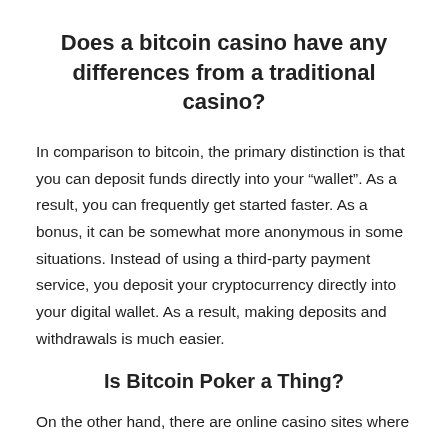Does a bitcoin casino have any differences from a traditional casino?
In comparison to bitcoin, the primary distinction is that you can deposit funds directly into your “wallet”. As a result, you can frequently get started faster. As a bonus, it can be somewhat more anonymous in some situations. Instead of using a third-party payment service, you deposit your cryptocurrency directly into your digital wallet. As a result, making deposits and withdrawals is much easier.
Is Bitcoin Poker a Thing?
On the other hand, there are online casino sites where